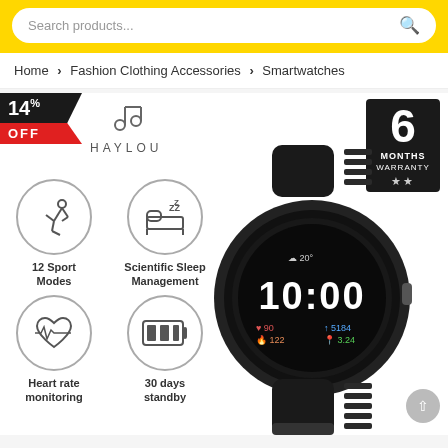Search products...
Home > Fashion Clothing Accessories > Smartwatches
[Figure (photo): Product page screenshot showing a Haylou smartwatch with 14% OFF discount badge, 6 Months Warranty badge, feature icons (12 Sport Modes, Scientific Sleep Management, Heart rate monitoring, 30 days standby), and a photo of the black smartwatch displaying 10:00]
14% OFF
HAYLOU
6 MONTHS WARRANTY
12 Sport Modes
Scientific Sleep Management
Heart rate monitoring
30 days standby